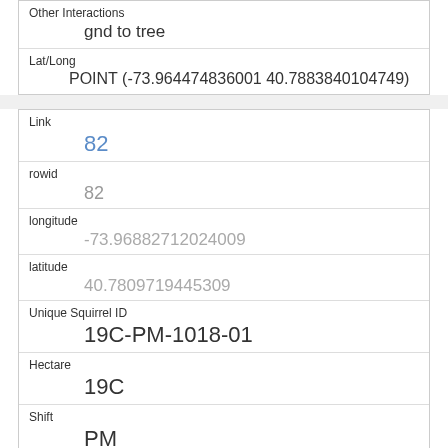| Other Interactions | gnd to tree |
| Lat/Long | POINT (-73.964474836001 40.7883840104749) |
| Link | 82 |
| rowid | 82 |
| longitude | -73.96882712024009 |
| latitude | 40.7809719445309 |
| Unique Squirrel ID | 19C-PM-1018-01 |
| Hectare | 19C |
| Shift | PM |
| Date | 10182018 |